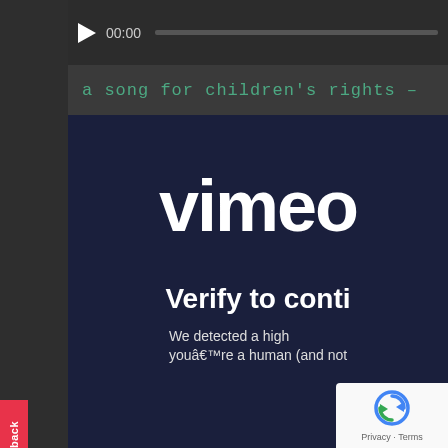[Figure (screenshot): Screenshot of a webpage showing a video player bar at the top with a play button and 00:00 timestamp, a subtitle reading 'a song for children's rights –', and an embedded Vimeo verification screen with the Vimeo logo, 'Verify to conti...' heading, and 'We detected a high ... you're a human (and not ...' body text. A reCAPTCHA widget is visible in the bottom right corner. A red Feedback tab appears on the left side.]